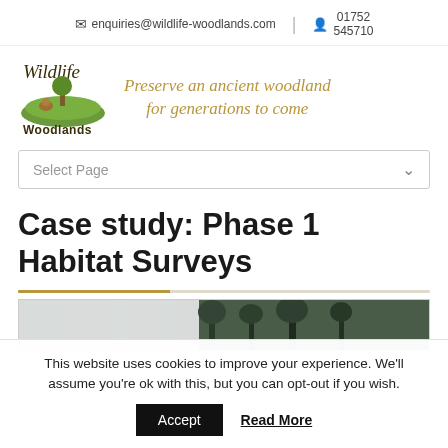✉ enquiries@wildlife-woodlands.com  |  👤 01752 545710
[Figure (logo): Wildlife Woodlands logo with green hill and tree illustration, text 'Wildlife Woodlands']
Preserve an ancient woodland for generations to come
Select Page
Case study: Phase 1 Habitat Surveys
[Figure (photo): Partial photograph of a woodland scene with trees visible at top]
This website uses cookies to improve your experience. We'll assume you're ok with this, but you can opt-out if you wish.